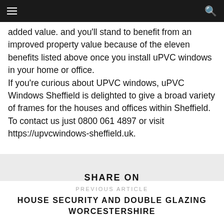Navigation bar
added value. and you'll stand to benefit from an improved property value because of the eleven benefits listed above once you install uPVC windows in your home or office.
If you're curious about UPVC windows, uPVC Windows Sheffield is delighted to give a broad variety of frames for the houses and offices within Sheffield. To contact us just 0800 061 4897 or visit https://upvcwindows-sheffield.uk.
SHARE ON
[Figure (infographic): Social share buttons: Facebook Like 0, Pinterest Save, Twitter Tweet]
PREVIOUS ARTICLE
HOUSE SECURITY AND DOUBLE GLAZING WORCESTERSHIRE